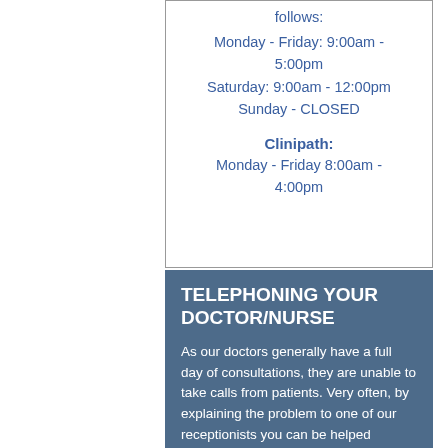follows:
Monday - Friday: 9:00am - 5:00pm
Saturday: 9:00am - 12:00pm
Sunday - CLOSED
Clinipath:
Monday - Friday 8:00am - 4:00pm
TELEPHONING YOUR DOCTOR/NURSE
As our doctors generally have a full day of consultations, they are unable to take calls from patients. Very often, by explaining the problem to one of our receptionists you can be helped